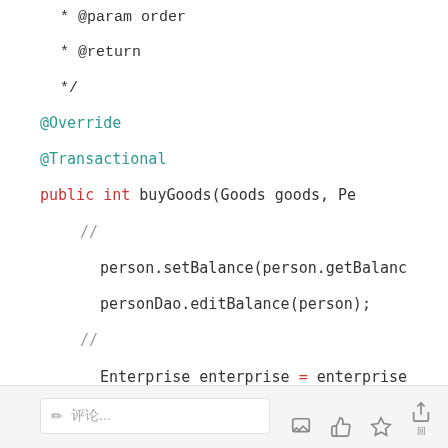Code snippet showing Java method with @Override, @Transactional annotations and buyGoods method body including balance operations on person and enterprise objects.
Comment input bar with pencil icon and placeholder text, plus interaction icons (comment, like, star, share, count).